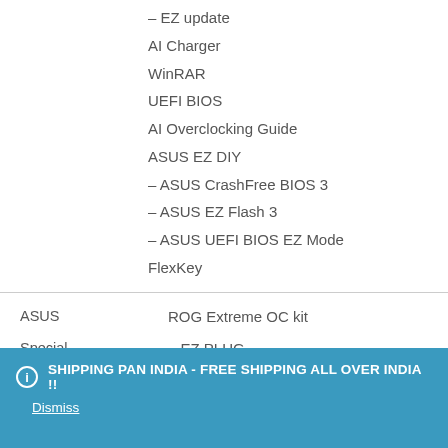– EZ update
AI Charger
WinRAR
UEFI BIOS
AI Overclocking Guide
ASUS EZ DIY
– ASUS CrashFree BIOS 3
– ASUS EZ Flash 3
– ASUS UEFI BIOS EZ Mode
FlexKey
| ASUS | ROG Extreme OC kit |
| Special | – EZ PLUG |
| Features | – FlexKey button |
|  | – LN2 Mode |
SHIPPING PAN INDIA - FREE SHIPPING ALL OVER INDIA !!
Dismiss